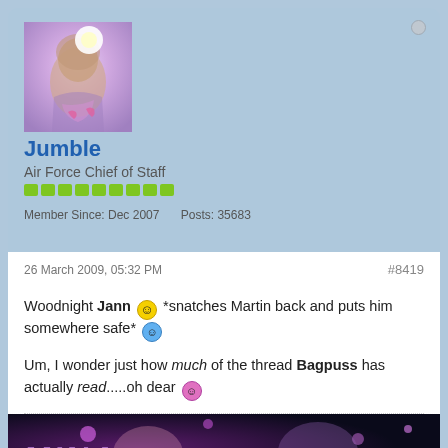[Figure (photo): User avatar showing a person's face with pink/purple light and heart shapes]
Jumble
Air Force Chief of Staff
Member Since: Dec 2007   Posts: 35683
26 March 2009, 05:32 PM
#8419
Woodnight Jann 😊 *snatches Martin back and puts him somewhere safe* 😊

Um, I wonder just how much of the thread Bagpuss has actually read.....oh dear 😊
[Figure (photo): Signature image showing stylized text 'MINA' or similar with purple/pink sci-fi theme and people's faces]